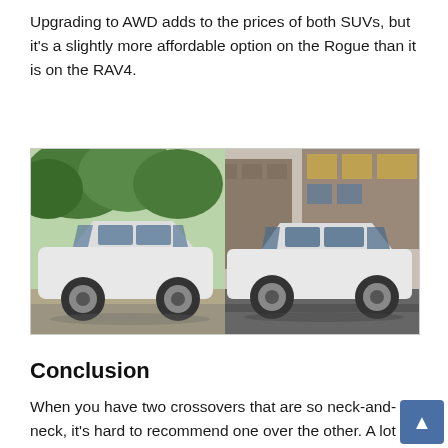Upgrading to AWD adds to the prices of both SUVs, but it's a slightly more affordable option on the Rogue than it is on the RAV4.
[Figure (photo): Side-by-side photos of two white SUVs — a Nissan Rogue on the left parked in a grassy/rocky outdoor setting with green trees in the background, and a Toyota RAV4 on the right driving on a road with storefronts in the background.]
Conclusion
When you have two crossovers that are so neck-and-neck, it's hard to recommend one over the other. A lot of it comes down to personal preference. While pricing is similar, you should keep in mind the difference in fuel economy and how much those differences add up, with the Rogue being the more